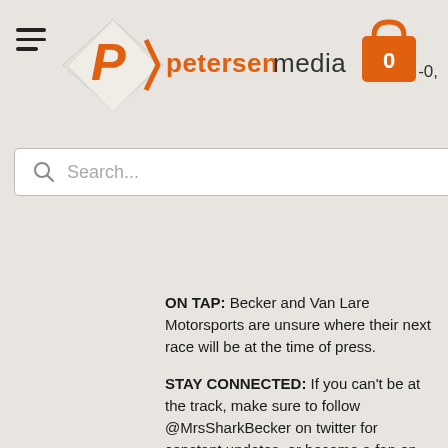Petersen Media — navigation header with logo, hamburger menu, cart icon, search bar
ON TAP: Becker and Van Lare Motorsports are unsure where their next race will be at the time of press.
STAY CONNECTED: If you can't be at the track, make sure to follow @MrsSharkBecker on twitter for constant updates, or become a fan on facebook at https://www.facebook.com/SeanBeckerRacing1023.
PETERSEN MEDIA: Petersen Media is a media company that can handle